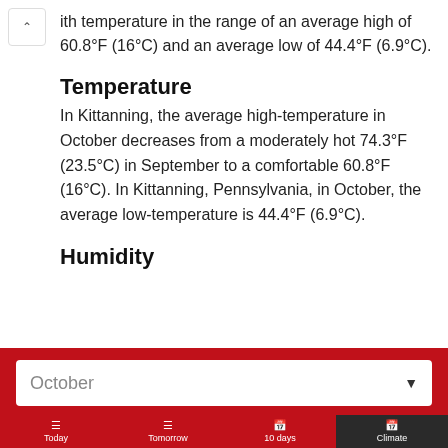ith temperature in the range of an average high of 60.8°F (16°C) and an average low of 44.4°F (6.9°C).
Temperature
In Kittanning, the average high-temperature in October decreases from a moderately hot 74.3°F (23.5°C) in September to a comfortable 60.8°F (16°C). In Kittanning, Pennsylvania, in October, the average low-temperature is 44.4°F (6.9°C).
Humidity